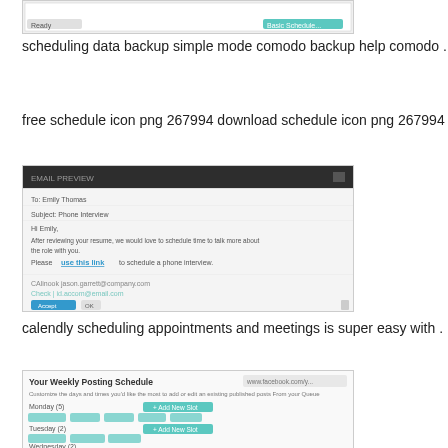[Figure (screenshot): Screenshot of Comodo Backup scheduling interface, simple mode]
scheduling data backup simple mode comodo backup help comodo .
free schedule icon png 267994 download schedule icon png 267994 .
[Figure (screenshot): Screenshot of Calendly scheduling a phone interview email/interface]
calendly scheduling appointments and meetings is super easy with .
[Figure (screenshot): Screenshot of Weekly Posting Schedule interface]